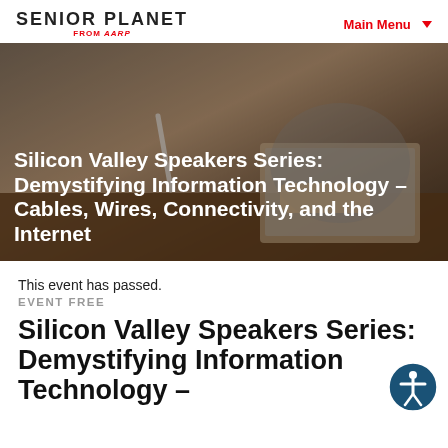SENIOR PLANET FROM AARP | Main Menu
[Figure (photo): Overhead photo of a person writing or using a laptop on a desk, used as hero image background.]
Silicon Valley Speakers Series: Demystifying Information Technology – Cables, Wires, Connectivity, and the Internet
This event has passed.
EVENT FREE
Silicon Valley Speakers Series: Demystifying Information Technology –